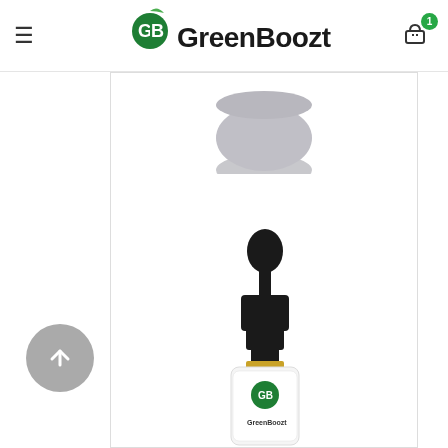GreenBoozt — navigation header with hamburger menu, logo, and cart icon (1 item)
[Figure (photo): Partial product image at top of card (cropped, showing bottom of a circular dark-lidded product)]
HEMP OIL EXTRACT 10% (1000MG)
€69.95
[Figure (photo): Hemp oil extract dropper bottle with GreenBoozt label, amber glass, black dropper cap]